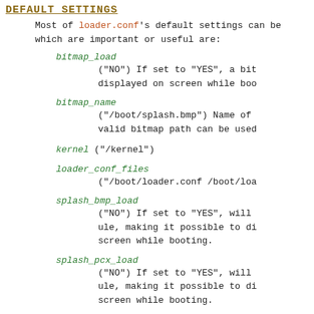DEFAULT SETTINGS
Most of loader.conf's default settings can be which are important or useful are:
bitmap_load
("NO") If set to "YES", a bit displayed on screen while boo
bitmap_name
("/boot/splash.bmp") Name of valid bitmap path can be used
kernel ("/kernel")
loader_conf_files
("/boot/loader.conf /boot/loa
splash_bmp_load
("NO") If set to "YES", will ule, making it possible to di screen while booting.
splash_pcx_load
("NO") If set to "YES", will ule, making it possible to di screen while booting.
userconfig_script_load